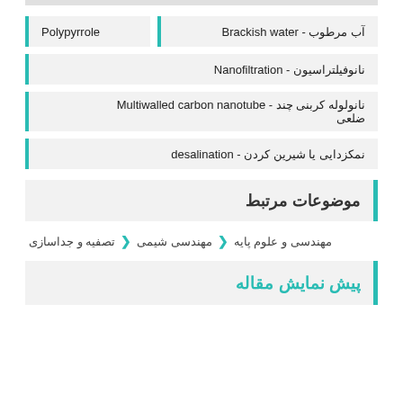Polypyrrole | آب مرطوب - Brackish water
نانوفیلتراسیون - Nanofiltration
نانولوله کربنی چند ضلعی - Multiwalled carbon nanotube
نمکزدایی یا شیرین کردن - desalination
موضوعات مرتبط
مهندسی و علوم پایه ❯ مهندسی شیمی ❯ تصفیه و جداسازی
پیش نمایش مقاله